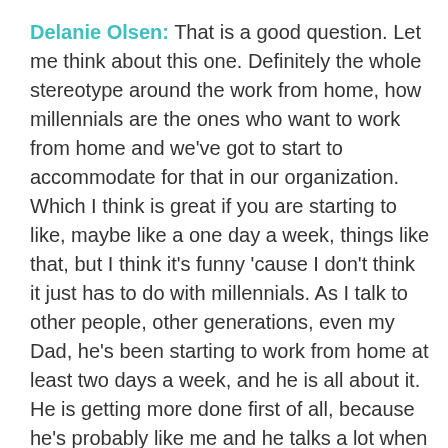Delanie Olsen: That is a good question. Let me think about this one. Definitely the whole stereotype around the work from home, how millennials are the ones who want to work from home and we've got to start to accommodate for that in our organization. Which I think is great if you are starting to like, maybe like a one day a week, things like that, but I think it's funny 'cause I don't think it just has to do with millennials. As I talk to other people, other generations, even my Dad, he's been starting to work from home at least two days a week, and he is all about it. He is getting more done first of all, because he's probably like me and he talks a lot when he's at work. He loves to socialize. But I don't think that the working from home should be a thing that's connected to millennials